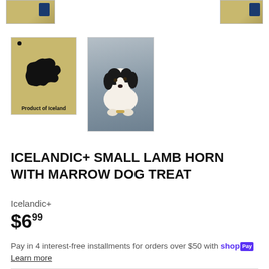[Figure (photo): Partial product images at top of page - cropped thumbnails of Icelandic+ lamb horn dog treat packaging on tan/brown background]
[Figure (photo): Thumbnail image: Iceland map silhouette printed on tan/kraft paper with 'Product of Iceland' label at bottom]
[Figure (photo): Thumbnail image: Black and white puppy (Cavalier King Charles Spaniel type) lying on blue/grey surface chewing on a lamb horn treat]
ICELANDIC+ SMALL LAMB HORN WITH MARROW DOG TREAT
Icelandic+
$6.99
Pay in 4 interest-free installments for orders over $50 with shop Pay Learn more